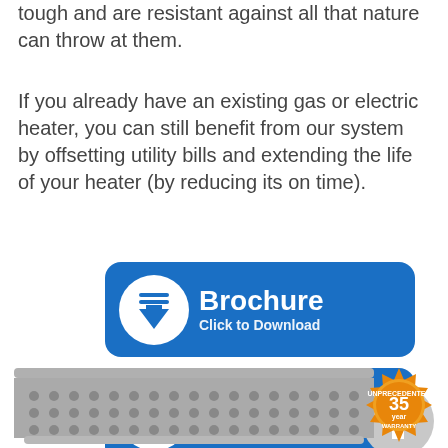tough and are resistant against all that nature can throw at them.
If you already have an existing gas or electric heater, you can still benefit from our system by offsetting utility bills and extending the life of your heater (by reducing its on time).
[Figure (infographic): Blue rounded rectangle button with download icon and text 'Brochure Click to Download']
[Figure (infographic): Blue rounded rectangle button with download icon and text 'Manual Click to Download']
[Figure (infographic): Gray circular scroll-to-top button with white upward arrow]
[Figure (photo): Product image of a gray metal heating panel at the bottom of the page]
[Figure (infographic): 35 year warranty badge - orange circular badge with text 'UNPRECEDENTED 35 YEAR WARRANTY']